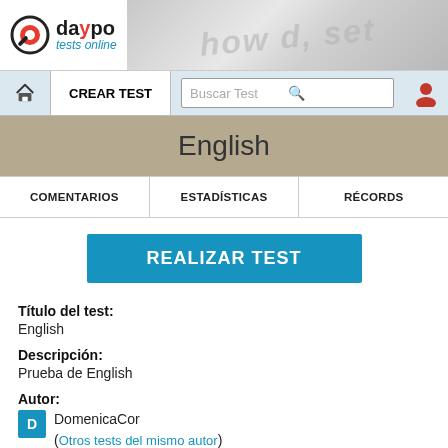daypo tests online
English
COMENTARIOS | ESTADÍSTICAS | RÉCORDS
REALIZAR TEST
Título del test:
English
Descripción:
Prueba de English
Autor:
DomenicaCor (Otros tests del mismo autor)
Fecha de Creación: